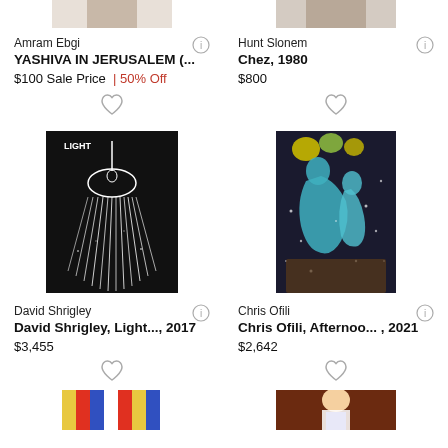[Figure (photo): Partial top images of artworks, cropped]
Amram Ebgi
YASHIVA IN JERUSALEM (...
$100 Sale Price | 50% Off
Hunt Slonem
Chez, 1980
$800
[Figure (illustration): David Shrigley artwork - shower head with light rays on black background, titled LIGHT]
[Figure (illustration): Chris Ofili artwork - colorful figures on dark background with dots]
David Shrigley
David Shrigley, Light..., 2017
$3,455
Chris Ofili
Chris Ofili, Afternoo... , 2021
$2,642
[Figure (illustration): Bottom partial images of artworks, cropped - colorful stripes on left, religious figure on right]